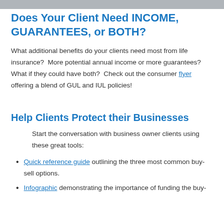Does Your Client Need INCOME, GUARANTEES, or BOTH?
What additional benefits do your clients need most from life insurance?  More potential annual income or more guarantees?  What if they could have both?  Check out the consumer flyer offering a blend of GUL and IUL policies!
Help Clients Protect their Businesses
Start the conversation with business owner clients using these great tools:
Quick reference guide outlining the three most common buy-sell options.
Infographic demonstrating the importance of funding the buy-